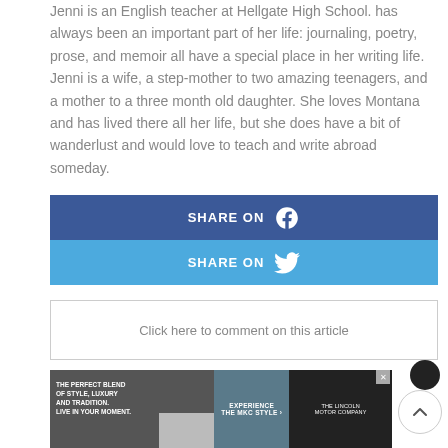Jenni is an English teacher at Hellgate High School. has always been an important part of her life: journaling, poetry, prose, and memoir all have a special place in her writing life. Jenni is a wife, a step-mother to two amazing teenagers, and a mother to a three month old daughter. She loves Montana and has lived there all her life, but she does have a bit of wanderlust and would love to teach and write abroad someday.
[Figure (infographic): Two social share buttons stacked vertically: a dark blue Facebook share button (SHARE ON with Facebook icon) and a lighter blue Twitter share button (SHARE ON with Twitter bird icon)]
Click here to comment on this article
[Figure (infographic): Advertisement banner for Lincoln MKC. Left panel: dark background with text 'THE PERFECT BLEND OF STYLE, LUXURY AND TRADITION. LIVE IN YOUR MOMENT.' with a car image. Middle panel: 'EXPERIENCE THE MKC STYLE' with arrow. Right panel: The Lincoln Motor Company logo on dark background. Has an X close button.]